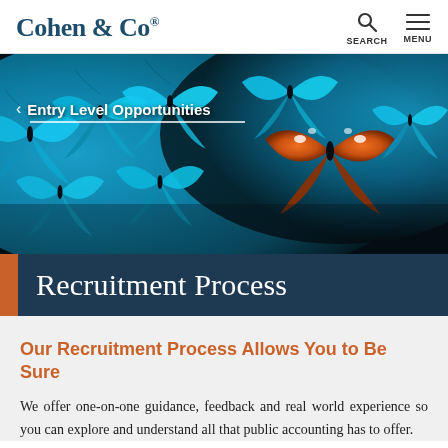Cohen & Co®  SEARCH  MENU
[Figure (photo): Hero banner showing a group of vivid blue morpho butterflies with one orange butterfly standing out, overlaid with breadcrumb navigation 'Entry Level Opportunities']
Recruitment Process
Our Recruitment Process Allows You to Be Sure
We offer one-on-one guidance, feedback and real world experience so you can explore and understand all that public accounting has to offer.